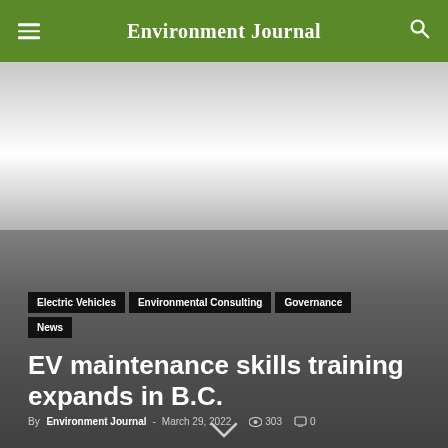Environment Journal
[Figure (photo): Hero image area with a light-to-grey gradient background, representing a large article banner photo]
Electric Vehicles
Environmental Consulting
Governance
News
EV maintenance skills training expands in B.C.
By Environment Journal - March 29, 2022  303  0